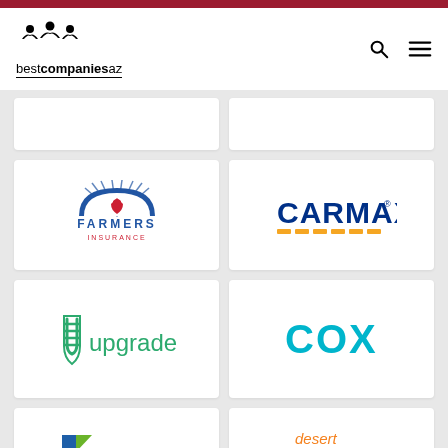bestcompaniesaz
[Figure (logo): Farmers Insurance logo - blue arch with red heart shield and figures, text FARMERS INSURANCE]
[Figure (logo): CarMax logo - dark blue bold text CARMAX with yellow dashed underline]
[Figure (logo): Upgrade logo - green shield icon with U and green text 'upgrade']
[Figure (logo): Cox logo - teal/cyan bold text COX]
[Figure (logo): KUBRA logo - blue and green geometric K icon with text KUBRA]
[Figure (logo): Desert Financial logo - orange 'desert' text and blue FINANCIAL text with mountain icon]